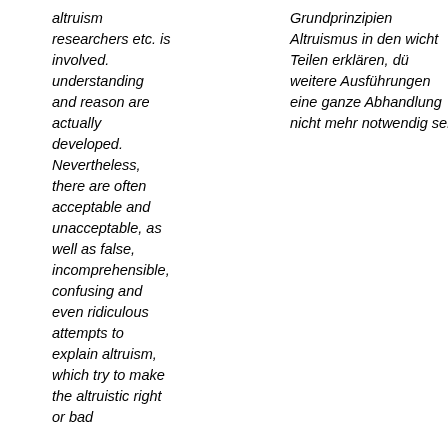altruism researchers etc. is involved. understanding and reason are actually developed. Nevertheless, there are often acceptable and unacceptable, as well as false, incomprehensible, confusing and even ridiculous attempts to explain altruism, which try to make the altruistic right or bad
Grundprinzipien Altruismus in den wichtigen Teilen erklären, dürfte weitere Ausführungen eine ganze Abhandlung nicht mehr notwendig sein.